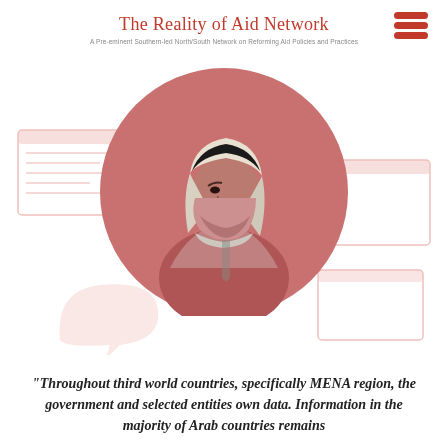The Reality of Aid Network
A Pre-eminent Southern-led North/South Network on Reforming Aid Policies and Practices
[Figure (photo): Circular cropped photo of a man in traditional Gulf Arab attire (white thobe and black ghutra/headdress), shown in profile/three-quarter view, with a dark rose/mauve duotone color treatment. Background shows faint decorative graphic elements (speech bubble, browser window outlines) in light pink.]
“Throughout third world countries, specifically MENA region, the government and selected entities own data. Information in the majority of Arab countries remains